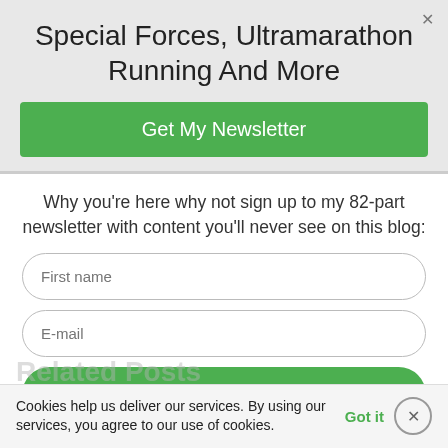Special Forces, Ultramarathon Running And More
Get My Newsletter
Why you're here why not sign up to my 82-part newsletter with content you'll never see on this blog:
First name
E-mail
Sign Up Now!
Related Posts
Cookies help us deliver our services. By using our services, you agree to our use of cookies.
Got it